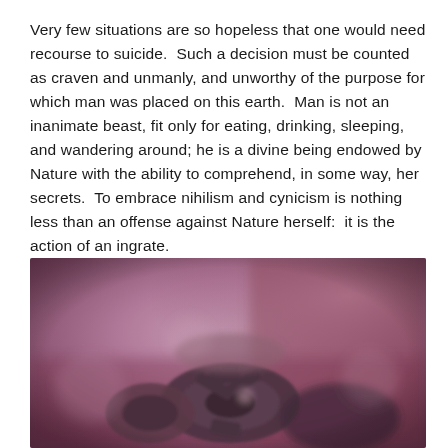Very few situations are so hopeless that one would need recourse to suicide.  Such a decision must be counted as craven and unmanly, and unworthy of the purpose for which man was placed on this earth.  Man is not an inanimate beast, fit only for eating, drinking, sleeping, and wandering around; he is a divine being endowed by Nature with the ability to comprehend, in some way, her secrets.  To embrace nihilism and cynicism is nothing less than an offense against Nature herself:  it is the action of an ingrate.
[Figure (photo): Close-up photograph of metal mechanical parts or gears with a blurred purple/mauve bokeh background]